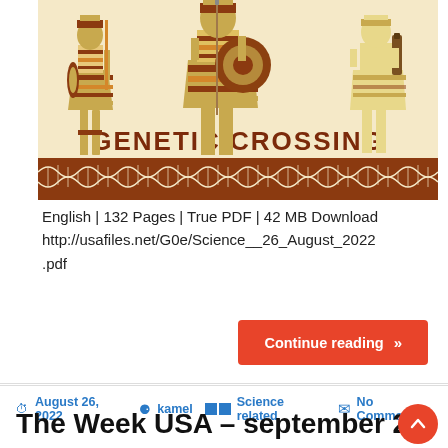[Figure (illustration): Illustration of ancient Egyptian-style warriors in yellow, brown, and cream tones carrying shields and spears, with a DNA double helix pattern border below them, and the text 'GENETIC CROSSING' in brown block letters at the bottom of the image.]
English | 132 Pages | True PDF | 42 MB Download http://usafiles.net/G0e/Science__26_August_2022.pdf
Continue reading »
August 26, 2022  kamel  Science related  No Comment
The Week USA – september 2,